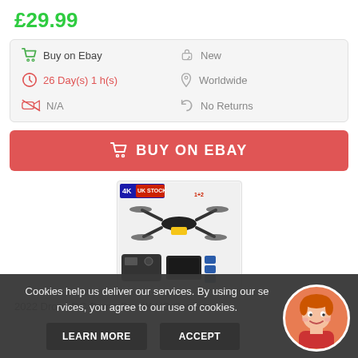£29.99
Buy on Ebay
New
26 Day(s) 1 h(s)
Worldwide
N/A
No Returns
BUY ON EBAY
[Figure (photo): Product photo of 4K drone with UK Stock label, remote controller, carry case and batteries]
2022 Drone RC Drone Pro 4K HD Camera...
Cookies help us deliver our services. By using our services, you agree to our use of cookies.